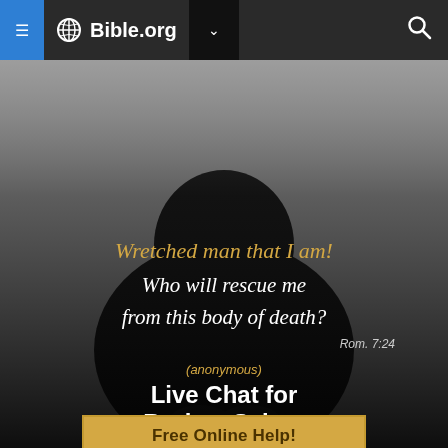Bible.org navigation bar with hamburger menu, globe logo, dropdown, and search icon
[Figure (photo): Black and white photo of a person bowing their head, wearing a dark hoodie, viewed from above/front. The image is overlaid with a dark gradient and inspirational text.]
Wretched man that I am! Who will rescue me from this body of death?
Rom. 7:24
(anonymous)
Live Chat for Broken Saints
Free Online Help!